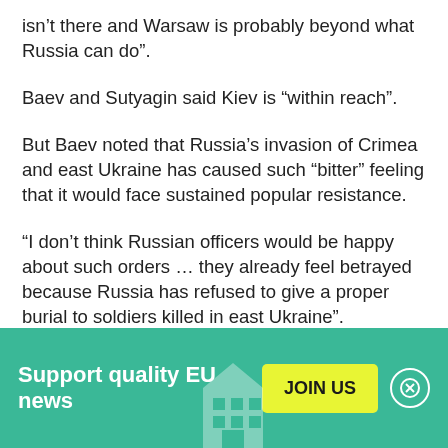isn't there and Warsaw is probably beyond what Russia can do”.
Baev and Sutyagin said Kiev is “within reach”.
But Baev noted that Russia’s invasion of Crimea and east Ukraine has caused such “bitter” feeling that it would face sustained popular resistance.
“I don’t think Russian officers would be happy about such orders … they already feel betrayed because Russia has refused to give a proper burial to soldiers killed in east Ukraine”.
[Figure (infographic): Green banner with text 'Support quality EU news', a yellow 'JOIN US' button, and a circular close button with an X icon.]